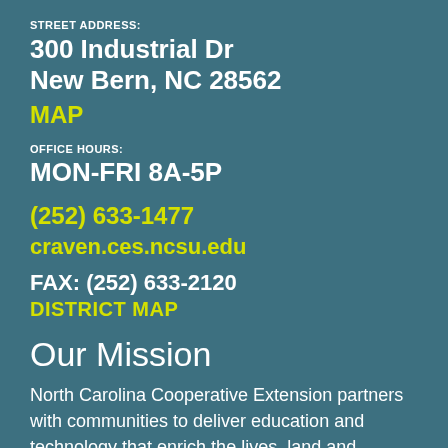STREET ADDRESS:
300 Industrial Dr
New Bern, NC 28562
MAP
OFFICE HOURS:
MON-FRI 8A-5P
(252) 633-1477
craven.ces.ncsu.edu
FAX: (252) 633-2120
DISTRICT MAP
Our Mission
North Carolina Cooperative Extension partners with communities to deliver education and technology that enrich the lives, land and